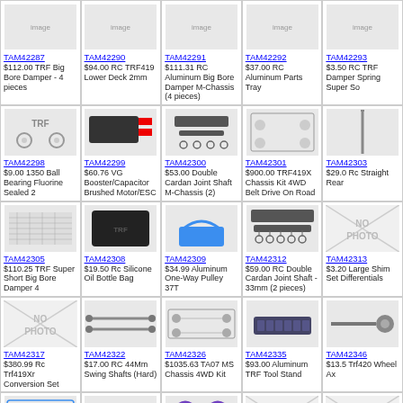| TAM42287 $112.00 TRF Big Bore Damper - 4 pieces | TAM42290 $94.00 RC TRF419 Lower Deck 2mm | TAM42291 $111.31 RC Aluminum Big Bore Damper M-Chassis (4 pieces) | TAM42292 $37.00 RC Aluminum Parts Tray | TAM42293 $3.50 RC TRF Damper Spring Super So |
| TAM42298 $9.00 1350 Ball Bearing Fluorine Sealed 2 | TAM42299 $60.76 VG Booster/Capacitor Brushed Motor/ESC | TAM42300 $53.00 Double Cardan Joint Shaft M-Chassis (2) | TAM42301 $900.00 TRF419X Chassis Kit 4WD Belt Drive On Road | TAM42303 $29.0 Rc Straight Rear |
| TAM42305 $110.25 TRF Super Short Big Bore Damper 4 | TAM42308 $19.50 Rc Silicone Oil Bottle Bag | TAM42309 $34.99 Aluminum One-Way Pulley 37T | TAM42312 $59.00 RC Double Cardan Joint Shaft - 33mm (2 pieces) | TAM42313 $3.20 Large Shim Set Differentials |
| TAM42317 $380.99 Rc Trf419Xr Conversion Set | TAM42322 $17.00 RC 44Mm Swing Shafts (Hard) | TAM42326 $1035.63 TA07 MS Chassis 4WD Kit | TAM42335 $93.00 Aluminum TRF Tool Stand | TAM42346 $13.5 Trf420 Wheel Ax |
| TAM42364 $1309.11 1:10 R/C Ta07 Msx Chassis Kit | TAM42373 $20.15 39mm Drive Shafts for Double Cardan Joint Shafts 2 pieces | TAM42374 $7.02 RC Vg O-Rings for Gear Differentials | TAM42377 $10.61 1150 Sealed Ball Bearings 2pcs. | TAM42379 $10.6 1050 3mm Thick Bearings 2pcs. |